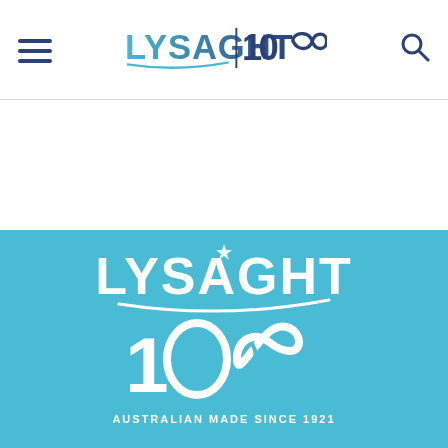[Figure (logo): Lysaght 100 logo in navy blue — hamburger menu icon on left, Lysaght|100∞ logo in center, search icon on right — navigation bar]
[Figure (logo): Lysaght 100 white logo on light blue background — LYSAGHT wordmark with infinity-100 symbol and tagline AUSTRALIAN MADE SINCE 1921]
LYSAGHT PROFESSIONALS